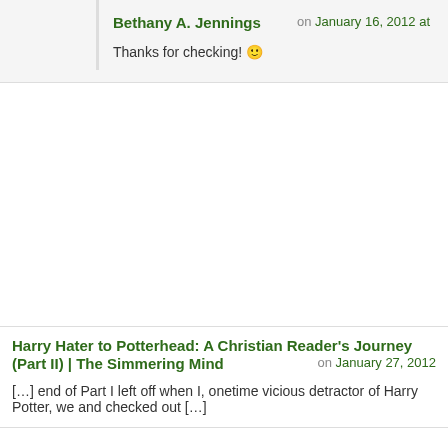Bethany A. Jennings — on January 16, 2012 at
Thanks for checking! 🙂
Harry Hater to Potterhead: A Christian Reader's Journey (Part II) | The Simmering Mind — on January 27, 2012
[…] end of Part I left off when I, onetime vicious detractor of Harry Potter, we and checked out […]
Comments RSS
I love to hear your thoughts!
Enter your comment here...